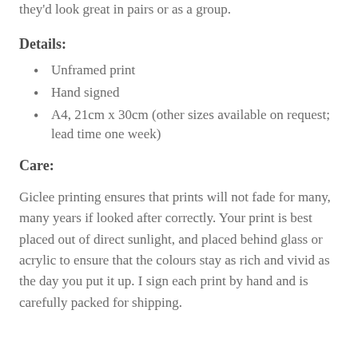they'd look great in pairs or as a group.
Details:
Unframed print
Hand signed
A4, 21cm x 30cm (other sizes available on request; lead time one week)
Care:
Giclee printing ensures that prints will not fade for many, many years if looked after correctly. Your print is best placed out of direct sunlight, and placed behind glass or acrylic to ensure that the colours stay as rich and vivid as the day you put it up. I sign each print by hand and is carefully packed for shipping.